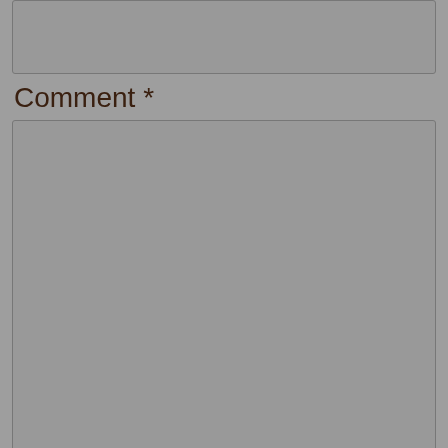[Figure (screenshot): Top portion of a web form input field (partially visible, gray background)]
Comment *
[Figure (screenshot): Large gray textarea input box for comment entry with resize handle in bottom-right corner]
[Figure (screenshot): Partially visible bottom section of a web form]
The site uses cookies that you may not want. Continued use means acceptance. For more information see our privacy policy.
Hide notice